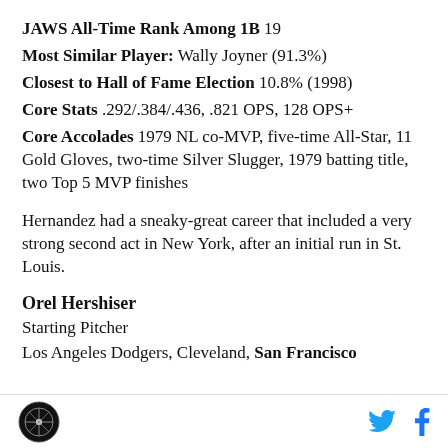JAWS All-Time Rank Among 1B 19
Most Similar Player: Wally Joyner (91.3%)
Closest to Hall of Fame Election 10.8% (1998)
Core Stats .292/.384/.436, .821 OPS, 128 OPS+
Core Accolades 1979 NL co-MVP, five-time All-Star, 11 Gold Gloves, two-time Silver Slugger, 1979 batting title, two Top 5 MVP finishes
Hernandez had a sneaky-great career that included a very strong second act in New York, after an initial run in St. Louis.
Orel Hershiser
Starting Pitcher
Los Angeles Dodgers, Cleveland, San Francisco
Logo | Twitter | Facebook